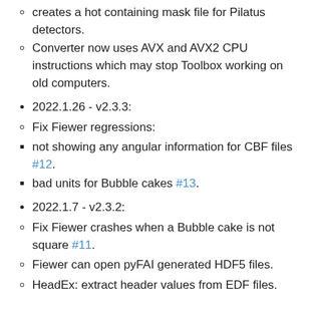creates a hot containing mask file for Pilatus detectors.
Converter now uses AVX and AVX2 CPU instructions which may stop Toolbox working on old computers.
2022.1.26 - v2.3.3:
Fix Fiewer regressions:
not showing any angular information for CBF files #12.
bad units for Bubble cakes #13.
2022.1.7 - v2.3.2:
Fix Fiewer crashes when a Bubble cake is not square #11.
Fiewer can open pyFAI generated HDF5 files.
HeadEx: extract header values from EDF files.